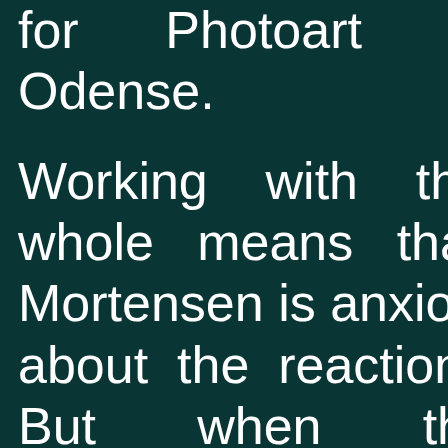for Photoart in Odense.
Working with the whole means that Mortensen is anxious about the reactions. But when the photographer gives him his professional opinion, he looks